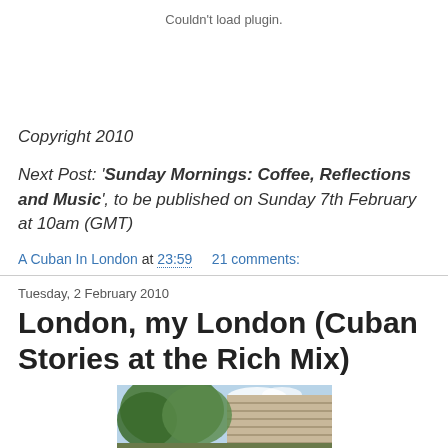Couldn't load plugin.
Copyright 2010
Next Post: 'Sunday Mornings: Coffee, Reflections and Music', to be published on Sunday 7th February at 10am (GMT)
A Cuban In London at 23:59   21 comments:
Tuesday, 2 February 2010
London, my London (Cuban Stories at the Rich Mix)
[Figure (photo): Exterior photo of the Rich Mix venue showing trees and building facade]